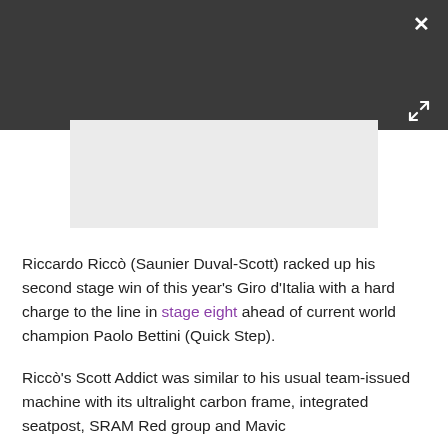[Figure (screenshot): Dark grey header bar with white X close button in top right and expand arrows icon in lower right]
[Figure (photo): Light grey image placeholder rectangle]
Riccardo Riccò (Saunier Duval-Scott) racked up his second stage win of this year's Giro d'Italia with a hard charge to the line in stage eight ahead of current world champion Paolo Bettini (Quick Step).
Riccò's Scott Addict was similar to his usual team-issued machine with its ultralight carbon frame, integrated seatpost, SRAM Red group and Mavic